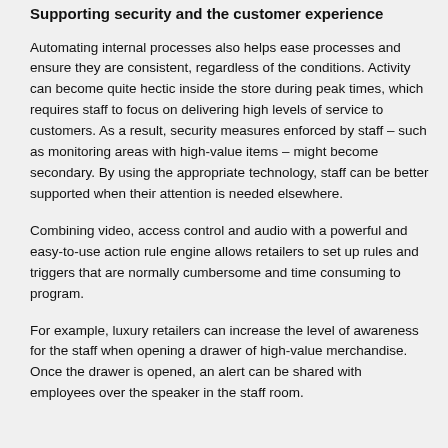Supporting security and the customer experience
Automating internal processes also helps ease processes and ensure they are consistent, regardless of the conditions. Activity can become quite hectic inside the store during peak times, which requires staff to focus on delivering high levels of service to customers. As a result, security measures enforced by staff – such as monitoring areas with high-value items – might become secondary. By using the appropriate technology, staff can be better supported when their attention is needed elsewhere.
Combining video, access control and audio with a powerful and easy-to-use action rule engine allows retailers to set up rules and triggers that are normally cumbersome and time consuming to program.
For example, luxury retailers can increase the level of awareness for the staff when opening a drawer of high-value merchandise. Once the drawer is opened, an alert can be shared with employees over the speaker in the staff room.